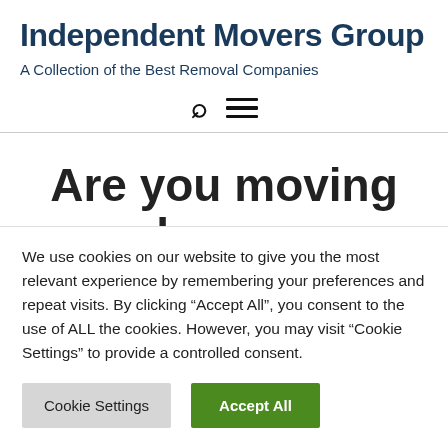Independent Movers Group
A Collection of the Best Removal Companies
Are you moving house from Howle to North
We use cookies on our website to give you the most relevant experience by remembering your preferences and repeat visits. By clicking “Accept All”, you consent to the use of ALL the cookies. However, you may visit “Cookie Settings” to provide a controlled consent.
Cookie Settings | Accept All